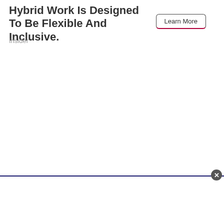Hybrid Work Is Designed To Be Flexible And Inclusive.
Insider
[Figure (other): Learn More button with dark border and red bottom border accent]
[Figure (other): Advertisement banner at bottom of page with close button (X circle icon) and dark blue top border]